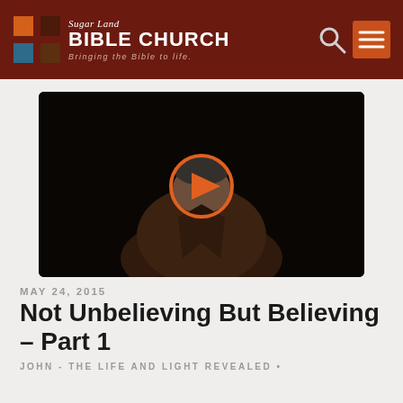Sugar Land Bible Church — Bringing the Bible to life.
[Figure (screenshot): Video thumbnail showing a man in a brown suit with head bowed, dark background, with an orange play button circle overlay in the center.]
MAY 24, 2015
Not Unbelieving But Believing – Part 1
JOHN - THE LIFE AND LIGHT REVEALED •